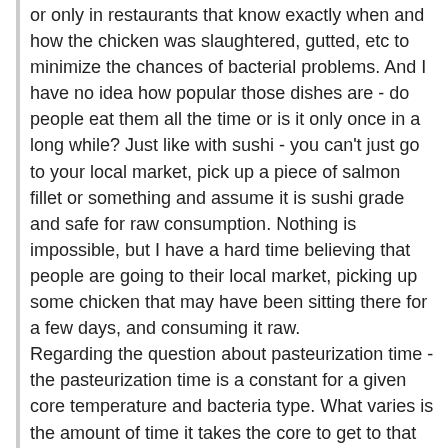or only in restaurants that know exactly when and how the chicken was slaughtered, gutted, etc to minimize the chances of bacterial problems. And I have no idea how popular those dishes are - do people eat them all the time or is it only once in a long while? Just like with sushi - you can't just go to your local market, pick up a piece of salmon fillet or something and assume it is sushi grade and safe for raw consumption. Nothing is impossible, but I have a hard time believing that people are going to their local market, picking up some chicken that may have been sitting there for a few days, and consuming it raw.
Regarding the question about pasteurization time - the pasteurization time is a constant for a given core temperature and bacteria type. What varies is the amount of time it takes the core to get to that temperature - which varies primarily by thickness/shape. Douglas Baldwin makes it easy by incorporating pasteurization time into some of the tables - but I think early-on NathanM posted a table of pasteurization times by temperature that you could add to the time it takes to reach core temperature.
If you have an iOS device, I would highly recommend downloading the SousVideDash app - designed by an